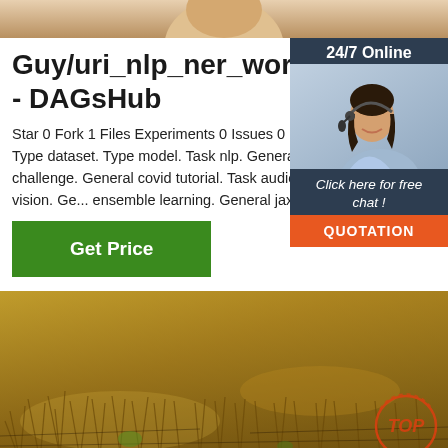[Figure (photo): Top banner photo — partial image of a person, cropped at top of page]
Guy/uri_nlp_ner_workshop - DAGsHub
Star 0 Fork 1 Files Experiments 0 Issues 0 Pull R... Wiki Topics. Type dataset. Type model. Task nlp. General reproducibility-challenge. General covid tutorial. Task audio. General computer vision. Ge... ensemble learning. General jax. General xgboos...
[Figure (photo): Side widget showing a woman wearing a headset, with '24/7 Online' banner, 'Click here for free chat!' text, and an orange QUOTATION button]
Get Price
[Figure (photo): Bottom photo of dry grassland/steppe landscape with sparse brown grasses on sandy ground, with a red 'TOP' circular watermark in the bottom right]